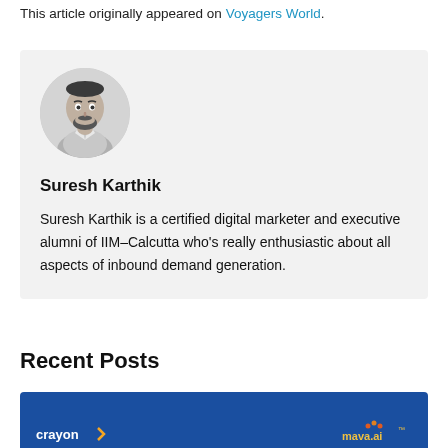This article originally appeared on Voyagers World.
[Figure (photo): Circular headshot of Suresh Karthik, a man with a beard wearing a light-colored jacket, black and white photo]
Suresh Karthik
Suresh Karthik is a certified digital marketer and executive alumni of IIM–Calcutta who's really enthusiastic about all aspects of inbound demand generation.
Recent Posts
[Figure (screenshot): Blue card banner showing crayon logo on left and mava.ai logo on right]